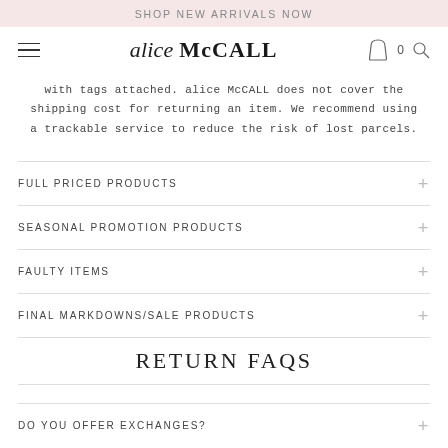SHOP NEW ARRIVALS NOW
[Figure (logo): alice McCALL logo with hamburger menu, cart icon with 0, and search icon]
with tags attached. alice McCALL does not cover the shipping cost for returning an item. We recommend using a trackable service to reduce the risk of lost parcels.
FULL PRICED PRODUCTS
SEASONAL PROMOTION PRODUCTS
FAULTY ITEMS
FINAL MARKDOWNS/SALE PRODUCTS
RETURN FAQS
DO YOU OFFER EXCHANGES?